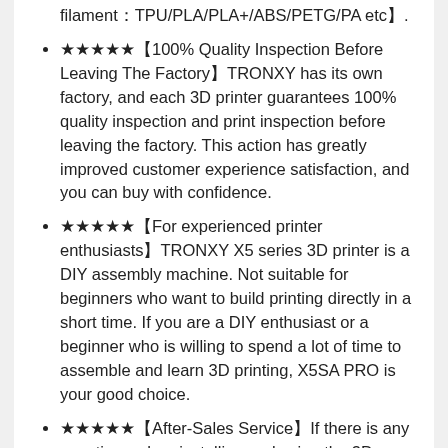filament：TPU/PLA/PLA+/ABS/PETG/PA etc】.
★★★★★【100% Quality Inspection Before Leaving The Factory】TRONXY has its own factory, and each 3D printer guarantees 100% quality inspection and print inspection before leaving the factory. This action has greatly improved customer experience satisfaction, and you can buy with confidence.
★★★★★【For experienced printer enthusiasts】TRONXY X5 series 3D printer is a DIY assembly machine. Not suitable for beginners who want to build printing directly in a short time. If you are a DIY enthusiast or a beginner who is willing to spend a lot of time to assemble and learn 3D printing, X5SA PRO is your good choice.
★★★★★【After-Sales Service】If there is any questions when installing and using the 3D printer, you can contact us.TRONXY provides 1 year warranty and lifetime technical support and 24-hour professional customer service.In